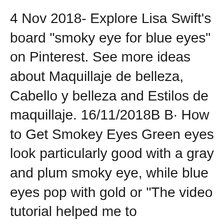4 Nov 2018- Explore Lisa Swift's board "smoky eye for blue eyes" on Pinterest. See more ideas about Maquillaje de belleza, Cabello y belleza and Estilos de maquillaje. 16/11/2018B B· How to Get Smokey Eyes Green eyes look particularly good with a gray and plum smoky eye, while blue eyes pop with gold or "The video tutorial helped me to
Black Smokey Eyes Makeup Step By Step. This is a truly classic smokey eye with a blend of beautiful grays and blacks. Beautiful Blue Eye Makeup Tutorial. But, this Smokey Eye Makeup Tutorial can help even beginners heat up the scene and have a pair of smoky